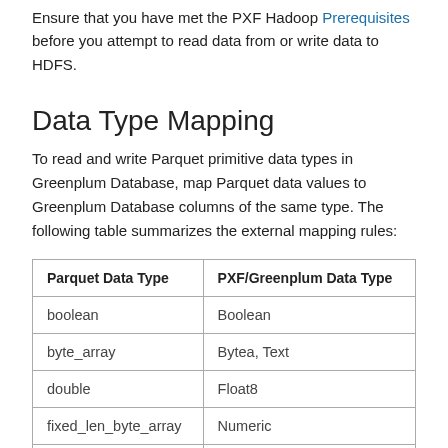Ensure that you have met the PXF Hadoop Prerequisites before you attempt to read data from or write data to HDFS.
Data Type Mapping
To read and write Parquet primitive data types in Greenplum Database, map Parquet data values to Greenplum Database columns of the same type. The following table summarizes the external mapping rules:
| Parquet Data Type | PXF/Greenplum Data Type |
| --- | --- |
| boolean | Boolean |
| byte_array | Bytea, Text |
| double | Float8 |
| fixed_len_byte_array | Numeric |
| float | Real |